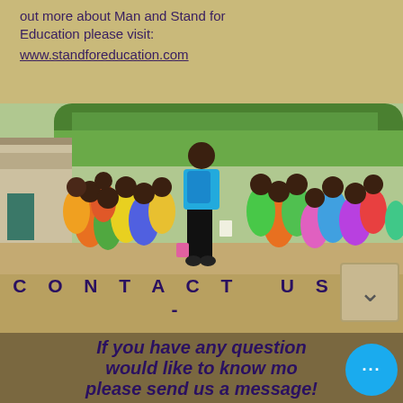out more about Man and Stand for Education please visit: www.standforeducation.com
[Figure (photo): A person wearing a blue backpack and blue shirt walking toward a large crowd of children outside a school building in Africa. Sandy ground, green trees in background.]
CONTACT US
-
If you have any questions or would like to know more, please send us a message!